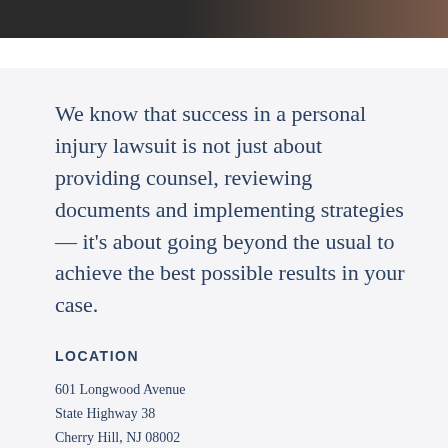[Figure (photo): Partial photo strip at top of page showing dark and warm-toned imagery]
We know that success in a personal injury lawsuit is not just about providing counsel, reviewing documents and implementing strategies — it's about going beyond the usual to achieve the best possible results in your case.
LOCATION
601 Longwood Avenue
State Highway 38
Cherry Hill, NJ 08002